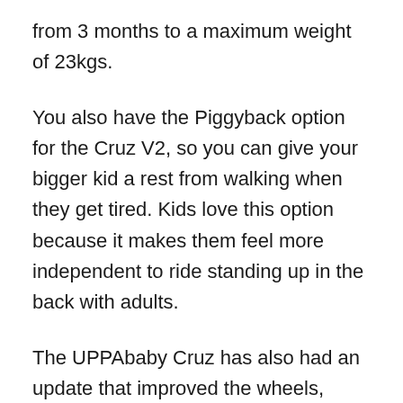from 3 months to a maximum weight of 23kgs.
You also have the Piggyback option for the Cruz V2, so you can give your bigger kid a rest from walking when they get tired. Kids love this option because it makes them feel more independent to ride standing up in the back with adults.
The UPPAbaby Cruz has also had an update that improved the wheels, making them softer and adding all-wheel suspension. However, these little fixes have made the Cruz V2 more